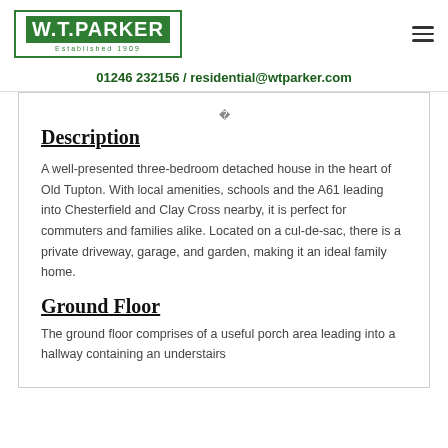W.T.PARKER Established 1909
01246 232156 / residential@wtparker.com
Description
A well-presented three-bedroom detached house in the heart of Old Tupton. With local amenities, schools and the A61 leading into Chesterfield and Clay Cross nearby, it is perfect for commuters and families alike. Located on a cul-de-sac, there is a private driveway, garage, and garden, making it an ideal family home.
Ground Floor
The ground floor comprises of a useful porch area leading into a hallway containing an understairs